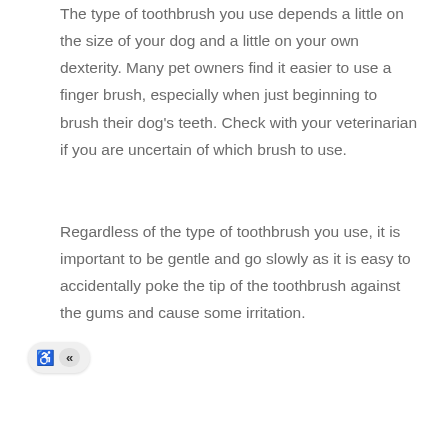The type of toothbrush you use depends a little on the size of your dog and a little on your own dexterity. Many pet owners find it easier to use a finger brush, especially when just beginning to brush their dog's teeth. Check with your veterinarian if you are uncertain of which brush to use.
Regardless of the type of toothbrush you use, it is important to be gentle and go slowly as it is easy to accidentally poke the tip of the toothbrush against the gums and cause some irritation.